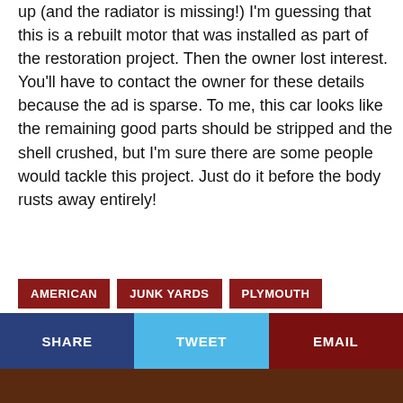up (and the radiator is missing!) I'm guessing that this is a rebuilt motor that was installed as part of the restoration project. Then the owner lost interest.  You'll have to contact the owner for these details because the ad is sparse. To me, this car looks like the remaining good parts should be stripped and the shell crushed, but I'm sure there are some people would tackle this project. Just do it before the body rusts away entirely!
AMERICAN
JUNK YARDS
PLYMOUTH
ROAD RUNNER
SHARE  TWEET  EMAIL